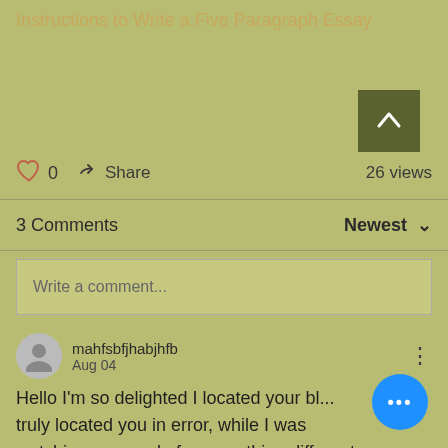Instructions to Write a Five Paragraph Essay
0   Share   26 views
3 Comments   Newest
Write a comment...
mahfsbfjhabjhfb
Aug 04
Hello I'm so delighted I located your bl... truly located you in error, while I was watching on google for something different,